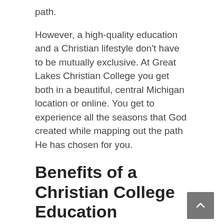path.
However, a high-quality education and a Christian lifestyle don't have to be mutually exclusive. At Great Lakes Christian College you get both in a beautiful, central Michigan location or online. You get to experience all the seasons that God created while mapping out the path He has chosen for you.
Benefits of a Christian College Education
Private Education